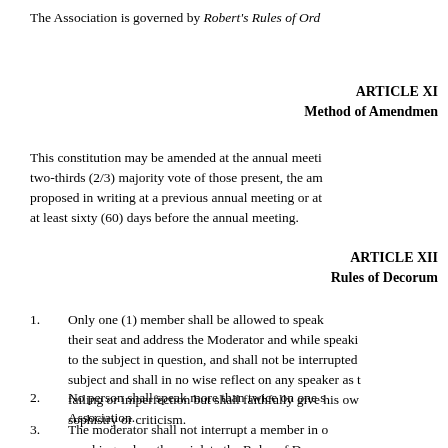The Association is governed by Robert's Rules of Ord...
ARTICLE XI
Method of Amendment
This constitution may be amended at the annual meeti... two-thirds (2/3) majority vote of those present, the am... proposed in writing at a previous annual meeting or at... at least sixty (60) days before the annual meeting.
ARTICLE XII
Rules of Decorum
1. Only one (1) member shall be allowed to speak... their seat and address the Moderator and while speaki... to the subject in question, and shall not be interrupted... subject and shall in no wise reflect on any speaker as... failing or imperfection but shall faithfully give his ow... sophistry or criticism.
2. No person shall speak more than twice on one s... Association.
3. The moderator shall not interrupt a member in o... speaking unless they violate the Rules of Decorum.